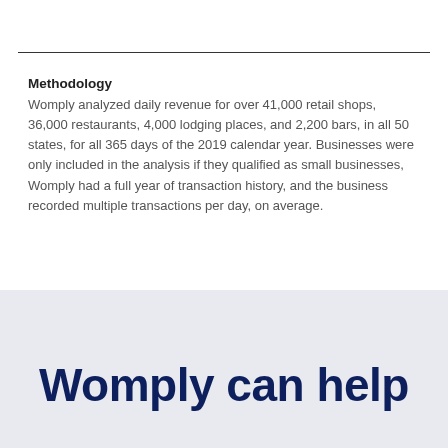Methodology
Womply analyzed daily revenue for over 41,000 retail shops, 36,000 restaurants, 4,000 lodging places, and 2,200 bars, in all 50 states, for all 365 days of the 2019 calendar year. Businesses were only included in the analysis if they qualified as small businesses, Womply had a full year of transaction history, and the business recorded multiple transactions per day, on average.
Womply can help